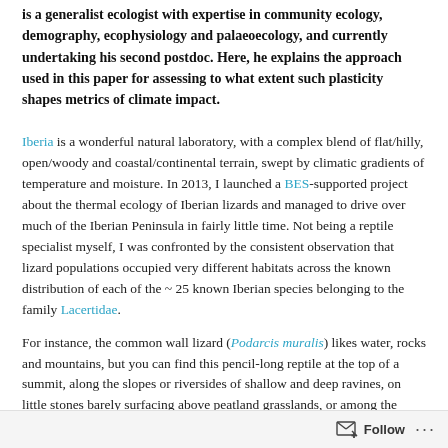is a generalist ecologist with expertise in community ecology, demography, ecophysiology and palaeoecology, and currently undertaking his second postdoc. Here, he explains the approach used in this paper for assessing to what extent such plasticity shapes metrics of climate impact.
Iberia is a wonderful natural laboratory, with a complex blend of flat/hilly, open/woody and coastal/continental terrain, swept by climatic gradients of temperature and moisture. In 2013, I launched a BES-supported project about the thermal ecology of Iberian lizards and managed to drive over much of the Iberian Peninsula in fairly little time. Not being a reptile specialist myself, I was confronted by the consistent observation that lizard populations occupied very different habitats across the known distribution of each of the ~ 25 known Iberian species belonging to the family Lacertidae.
For instance, the common wall lizard (Podarcis muralis) likes water, rocks and mountains, but you can find this pencil-long reptile at the top of a summit, along the slopes or riversides of shallow and deep ravines, on little stones barely surfacing above peatland grasslands, or among the bricks of buildings. These animals must experience different local climates conditional on where they live, and adant their thermal physiology accordingly.
Follow ···